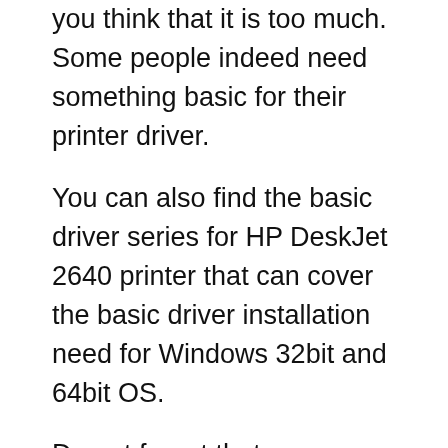you think that it is too much. Some people indeed need something basic for their printer driver.
You can also find the basic driver series for HP DeskJet 2640 printer that can cover the basic driver installation need for Windows 32bit and 64bit OS.
Do not forget that you can also improve the performance and functionality of your printer. This is the reason why you do not always have to update your printer unit with the new one since you can simply update the printer firmware t get better printer functionality and performance.